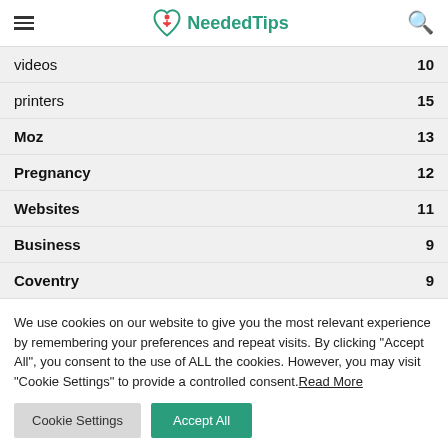NeededTips
videos 10
printers 15
Moz 13
Pregnancy 12
Websites 11
Business 9
Coventry 9
We use cookies on our website to give you the most relevant experience by remembering your preferences and repeat visits. By clicking "Accept All", you consent to the use of ALL the cookies. However, you may visit "Cookie Settings" to provide a controlled consent. Read More